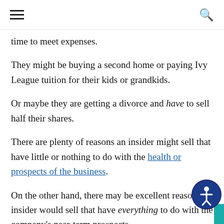☰  🔍
time to meet expenses.
They might be buying a second home or paying Ivy League tuition for their kids or grandkids.
Or maybe they are getting a divorce and have to sell half their shares.
There are plenty of reasons an insider might sell that have little or nothing to do with the health or prospects of the business.
On the other hand, there may be excellent reasons an insider would sell that have everything to do with the company's near-term prospects.